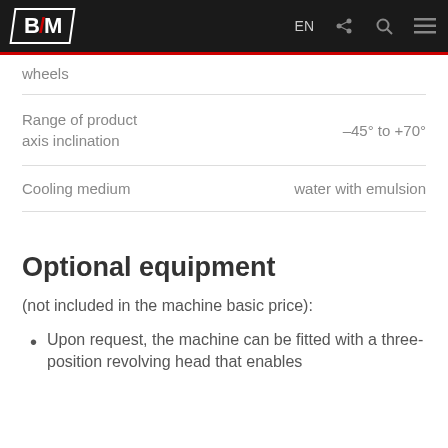BM | EN
| Property | Value |
| --- | --- |
| wheels |  |
| Range of product axis inclination | –45° to +70° |
| Cooling medium | water with emulsion |
Optional equipment
(not included in the machine basic price):
Upon request, the machine can be fitted with a three-position revolving head that enables